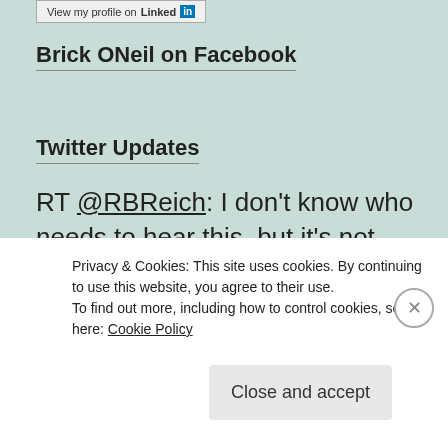[Figure (logo): LinkedIn profile button with LinkedIn logo]
Brick ONeil on Facebook
Twitter Updates
RT @RBReich: I don't know who needs to hear this, but it's not radical to prosecute a former president if he actually broke the law.Brick ONeil on Twitter
Privacy & Cookies: This site uses cookies. By continuing to use this website, you agree to their use. To find out more, including how to control cookies, see here: Cookie Policy
Close and accept